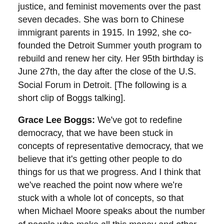justice, and feminist movements over the past seven decades. She was born to Chinese immigrant parents in 1915. In 1992, she co-founded the Detroit Summer youth program to rebuild and renew her city. Her 95th birthday is June 27th, the day after the close of the U.S. Social Forum in Detroit. [The following is a short clip of Boggs talking].
Grace Lee Boggs: We've got to redefine democracy, that we have been stuck in concepts of representative democracy, that we believe that it's getting other people to do things for us that we progress. And I think that we've reached the point now where we're stuck with a whole lot of concepts, so that when Michael Moore speaks about the number of people who make all this money and other people who don't, it sounds as if we're struggling for equality with them. Who wants to be equal to these guys? I think we have to be thinking much more profoundly.